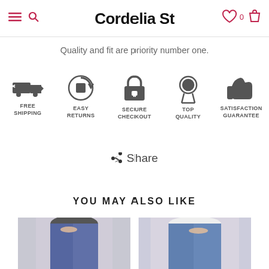Cordelia St
Quality and fit are priority number one.
[Figure (infographic): Five service icons in a row: FREE SHIPPING (delivery truck), EASY RETURNS (box with arrow), SECURE CHECKOUT (padlock), TOP QUALITY (award/medal), SATISFACTION GUARANTEE (thumbs up)]
f Share
YOU MAY ALSO LIKE
[Figure (photo): Two product photos showing women wearing dark blue jeans, cropped to waist/hip area.]